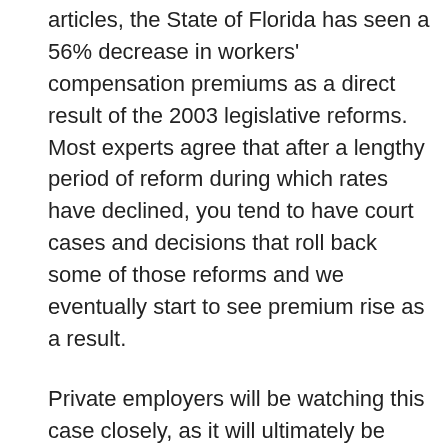articles, the State of Florida has seen a 56% decrease in workers' compensation premiums as a direct result of the 2003 legislative reforms. Most experts agree that after a lengthy period of reform during which rates have declined, you tend to have court cases and decisions that roll back some of those reforms and we eventually start to see premium rise as a result.
Private employers will be watching this case closely, as it will ultimately be decided by the Florida Supreme Court. As we have seen recently with the barrage of lawsuits against the